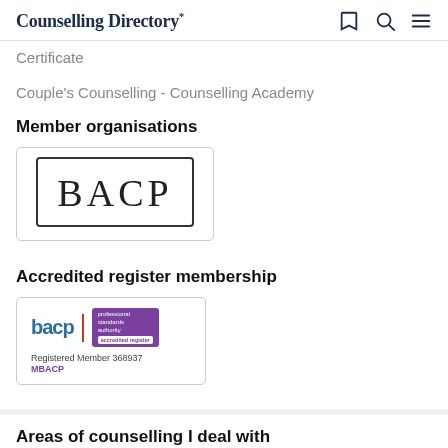Counselling Directory*
Certificate
Couple's Counselling - Counselling Academy
Member organisations
[Figure (logo): BACP logo — large bold letters 'BACP' inside a rectangular bordered box]
Accredited register membership
[Figure (logo): BACP accredited register badge: 'bacp' in blue with red divider, purple 'professional standards authority accredited register' badge, 'Registered Member 368937', 'MBACP' in purple]
Areas of counselling I deal with